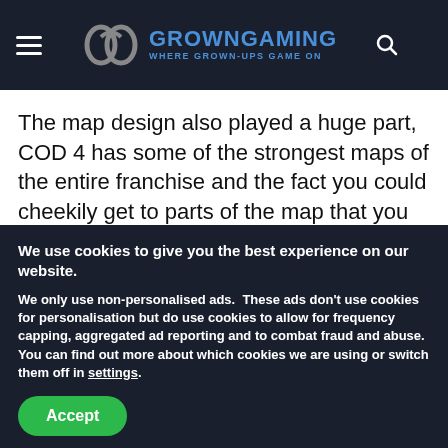GROWNGAMING WHERE GROWN-UPS GAME ON
The map design also played a huge part, COD 4 has some of the strongest maps of the entire franchise and the fact you could cheekily get to parts of the map that you were not supposed to, actually added further enjoyment for many. Maps were also largely realistic and gritty, unlike many subsequent COD
We use cookies to give you the best experience on our website.
We only use non-personalised ads.  These ads don't use cookies for personalisation but do use cookies to allow for frequency capping, aggregated ad reporting and to combat fraud and abuse.  You can find out more about which cookies we are using or switch them off in settings.
Accept